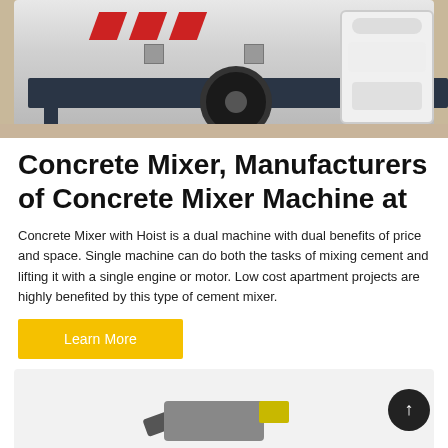[Figure (photo): Concrete mixer machine/trailer with red chevron stripes on white body, large wheel, support legs, mounted on sandy ground outdoors]
Concrete Mixer, Manufacturers of Concrete Mixer Machine at
Concrete Mixer with Hoist is a dual machine with dual benefits of price and space. Single machine can do both the tasks of mixing cement and lifting it with a single engine or motor. Low cost apartment projects are highly benefited by this type of cement mixer.
Learn More
[Figure (photo): Partial view of another concrete/construction equipment on light gray background, bottom of page]